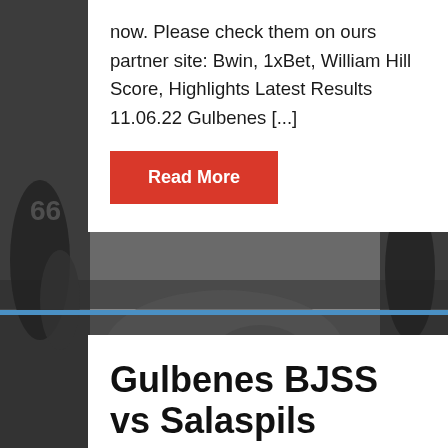[Figure (photo): Black and white photograph of American football players in action on a field, serving as a full-page background image.]
now. Please check them on ours partner site: Bwin, 1xBet, William Hill Score, Highlights Latest Results 11.06.22 Gulbenes [...]
Read More
Gulbenes BJSS vs Salaspils prediction, Jun 11